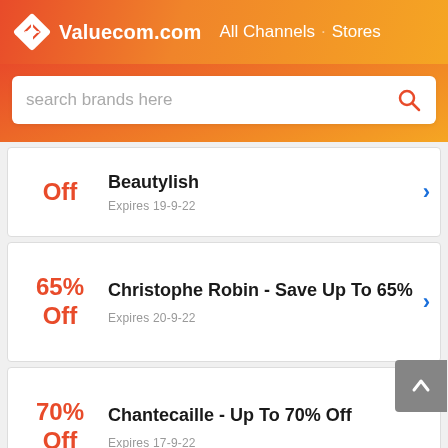Valuecom.com  All Channels  Stores
search brands here
Off
Beautylish
Expires 19-9-22
65% Off
Christophe Robin - Save Up To 65%
Expires 20-9-22
70% Off
Chantecaille - Up To 70% Off
Expires 17-9-22